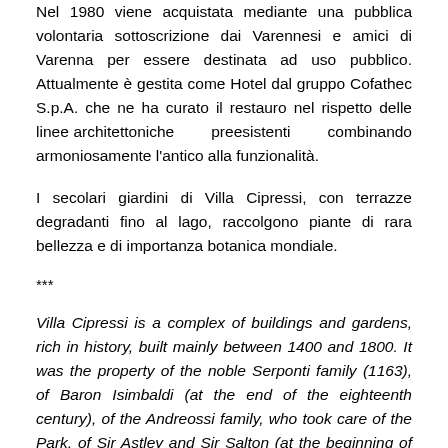Nel 1980 viene acquistata mediante una pubblica volontaria sottoscrizione dai Varennesi e amici di Varenna per essere destinata ad uso pubblico. Attualmente è gestita come Hotel dal gruppo Cofathec S.p.A. che ne ha curato il restauro nel rispetto delle linee architettoniche preesistenti combinando armoniosamente l'antico alla funzionalità.
I secolari giardini di Villa Cipressi, con terrazze degradanti fino al lago, raccolgono piante di rara bellezza e di importanza botanica mondiale.
***
Villa Cipressi is a complex of buildings and gardens, rich in history, built mainly between 1400 and 1800. It was the property of the noble Serponti family (1163), of Baron Isimbaldi (at the end of the eighteenth century), of the Andreossi family, who took care of the Park, of Sir Astley and Sir Salton (at the beginning of the twentieth century)